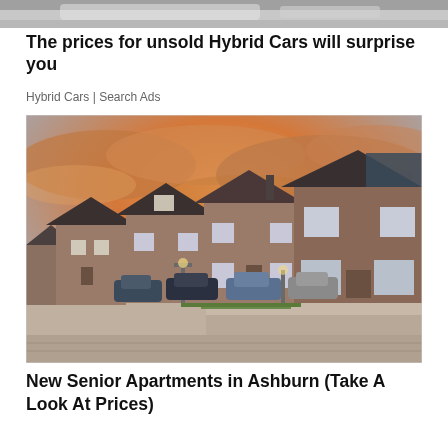[Figure (photo): Top portion of a car image, partially visible, showing what appears to be the roof or window area of a vehicle.]
The prices for unsold Hybrid Cars will surprise you
Hybrid Cars | Search Ads
[Figure (photo): Photograph of a row of brick residential houses/apartments along a cobblestone street under a dramatic orange and cloudy sunset sky. Several cars are parked along the street, and the houses have dark grey roofs including one with solar panels.]
New Senior Apartments in Ashburn (Take A Look At Prices)